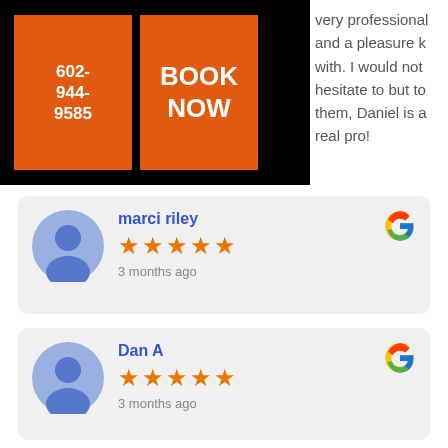[Figure (other): Black navigation bar with orange phone number button (602-944-9585) and orange BOOK NOW button]
very professional and a pleasure k with. I would not hesitate to but to them, Daniel is a real pro!
[Figure (other): Google review card for marci riley, 5 stars, 3 months ago]
[Figure (other): Google review card for Dan A, 5 stars, 3 months ago]
[Figure (other): Google review card for C Chavez, 5 stars, partially visible]